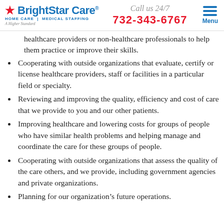BrightStar Care | Call us 24/7 | 732-343-6767 | Menu
healthcare providers or non-healthcare professionals to help them practice or improve their skills.
Cooperating with outside organizations that evaluate, certify or license healthcare providers, staff or facilities in a particular field or specialty.
Reviewing and improving the quality, efficiency and cost of care that we provide to you and our other patients.
Improving healthcare and lowering costs for groups of people who have similar health problems and helping manage and coordinate the care for these groups of people.
Cooperating with outside organizations that assess the quality of the care others, and we provide, including government agencies and private organizations.
Planning for our organization's future operations.